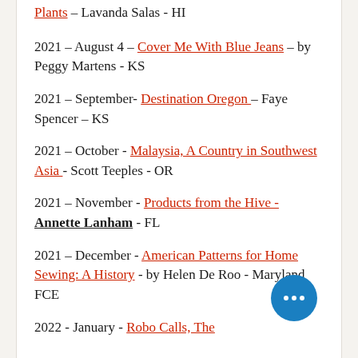Plants – Lavanda Salas - HI (partial, top of page)
2021 – August 4 – Cover Me With Blue Jeans – by Peggy Martens - KS
2021 – September- Destination Oregon – Faye Spencer – KS
2021 – October - Malaysia, A Country in Southwest Asia - Scott Teeples - OR
2021 – November - Products from the Hive - Annette Lanham - FL
2021 – December - American Patterns for Home Sewing: A History - by Helen De Roo - Maryland FCE
2022 - January - Robo Calls, The (partial, bottom of page)